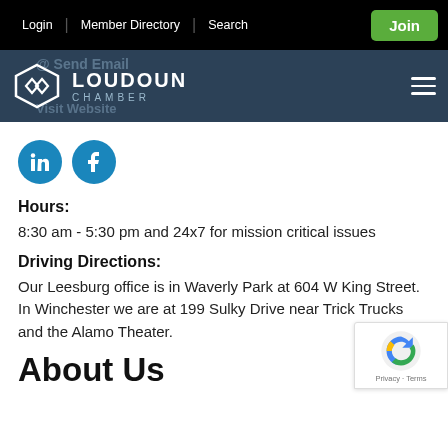Login | Member Directory | Search | Join
[Figure (logo): Loudoun Chamber logo with icon on dark blue navigation bar]
[Figure (illustration): LinkedIn and Facebook social media circle icons in teal/blue]
Hours:
8:30 am - 5:30 pm and 24x7 for mission critical issues
Driving Directions:
Our Leesburg office is in Waverly Park at 604 W King Street. In Winchester we are at 199 Sulky Drive near Trick Trucks and the Alamo Theater.
About Us